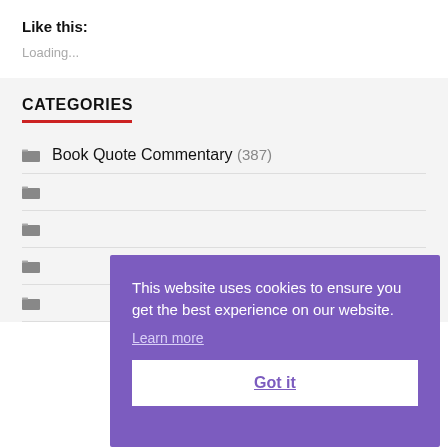Like this:
Loading...
CATEGORIES
Book Quote Commentary (387)
[partially obscured]
[partially obscured]
[partially obscured]
[partially obscured]
This website uses cookies to ensure you get the best experience on our website. Learn more Got it